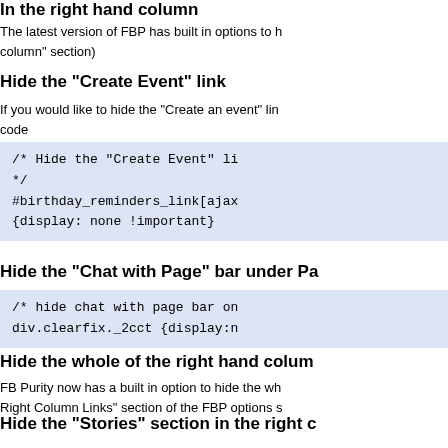In the right hand column
The latest version of FBP has built in options to h... column" section)
Hide the "Create Event" link
If you would like to hide the "Create an event" li... code
/* Hide the "Create Event" li
*/
#birthday_reminders_link[ajax
{display: none !important}
Hide the "Chat with Page" bar under Pa
/* hide chat with page bar on
div.clearfix._2cct {display:n
Hide the whole of the right hand colum
FB Purity now has a built in option to hide the wh... Right Column Links" section of the FBP options s
Hide the "Stories" section in the right c
The latest version of FBP has an option to hide t... the "Hide Right Column Links" heading on the FB